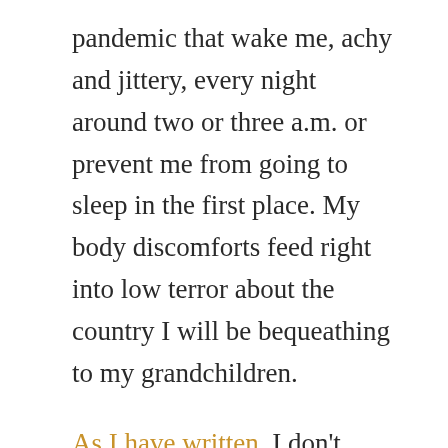pandemic that wake me, achy and jittery, every night around two or three a.m. or prevent me from going to sleep in the first place. My body discomforts feed right into low terror about the country I will be bequeathing to my grandchildren.
As I have written, I don't have many personal worries and fears. I am retired, with no need of job or money, and I can limit my exposure to the virus. I fear for those who can't, or whose lives are crippled by the need to do so. How can my 5-year-old grandson thrive in online kindergarten? What happens